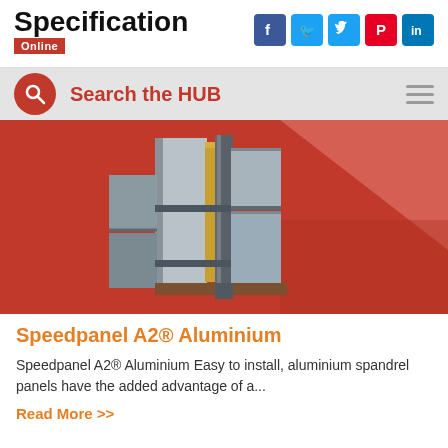Specification Online
Search the HUB
[Figure (illustration): 3D rendering of Speedpanel A2® Aluminium spandrel panel system on a red background showing aluminium cladding panels with insulation core detail]
Speedpanel A2® Aluminium
Speedpanel A2® Aluminium Easy to install, aluminium spandrel panels have the added advantage of a...
Read More >>